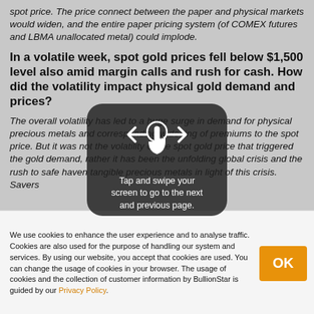spot price. The price connect between the paper and physical markets would widen, and the entire paper pricing system (of COMEX futures and LBMA unallocated metal) could implode.
In a volatile week, spot gold prices fell below $1,500 level also amid margin calls and rush for cash. How did the volatility impact physical gold demand and prices?
The overall volatility has led to a huge surge in demand for physical precious metals and corresponding widening of premiums to the spot price. But it was not the volatility of the spot gold price that triggered the gold demand, rather it has been the unfolding global crisis and the rush to safe haven tangible precious metals in light of this crisis. Savers
[Figure (other): Swipe overlay with hand/tap icon and text: Tap and swipe your screen to go to the next and previous page.]
We use cookies to enhance the user experience and to analyse traffic. Cookies are also used for the purpose of handling our system and services. By using our website, you accept that cookies are used. You can change the usage of cookies in your browser. The usage of cookies and the collection of customer information by BullionStar is guided by our Privacy Policy.